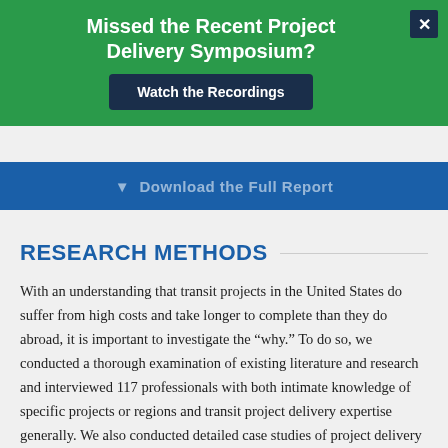[Figure (screenshot): Green popup banner with title 'Missed the Recent Project Delivery Symposium?' and a dark blue 'Watch the Recordings' button, with a close X button in the top right corner.]
[Figure (screenshot): Blue download bar partially visible with text 'Download the Full Report']
RESEARCH METHODS
With an understanding that transit projects in the United States do suffer from high costs and take longer to complete than they do abroad, it is important to investigate the “why.” To do so, we conducted a thorough examination of existing literature and research and interviewed 117 professionals with both intimate knowledge of specific projects or regions and transit project delivery expertise generally. We also conducted detailed case studies of project delivery in four